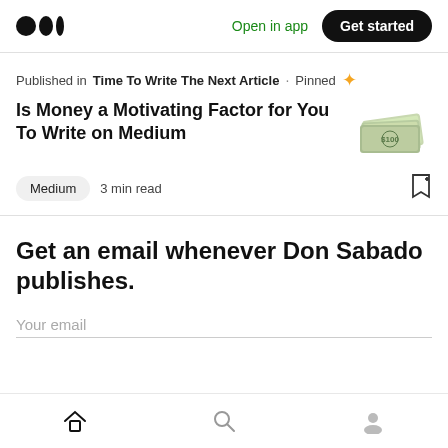Medium logo | Open in app | Get started
Published in Time To Write The Next Article · Pinned ✦
Is Money a Motivating Factor for You To Write on Medium
Medium  3 min read
Get an email whenever Don Sabado publishes.
Your email
Home | Search | Profile